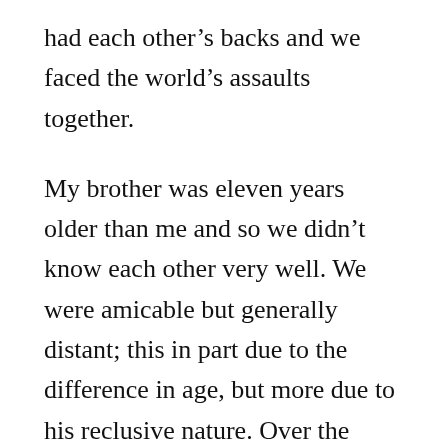had each other's backs and we faced the world's assaults together.
My brother was eleven years older than me and so we didn't know each other very well. We were amicable but generally distant; this in part due to the difference in age, but more due to his reclusive nature. Over the years I came to accept this distance and that he preferred to live as a bit of a hermit, at least towards his family, and that we probably would never